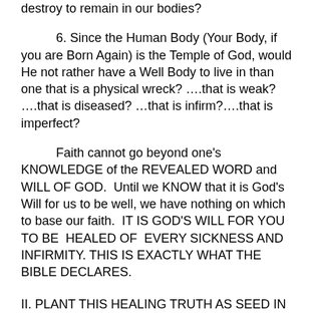destroy to remain in our bodies?
6. Since the Human Body (Your Body, if you are Born Again) is the Temple of God, would He not rather have a Well Body to live in than one that is a physical wreck? ….that is weak? ….that is diseased? …that is infirm?….that is imperfect?
Faith cannot go beyond one's KNOWLEDGE of the REVEALED WORD and WILL OF GOD. Until we KNOW that it is God's Will for us to be well, we have nothing on which to base our faith. IT IS GOD'S WILL FOR YOU TO BE HEALED OF EVERY SICKNESS AND INFIRMITY. THIS IS EXACTLY WHAT THE BIBLE DECLARES.
II. PLANT THIS HEALING TRUTH AS SEED IN YOUR HEART